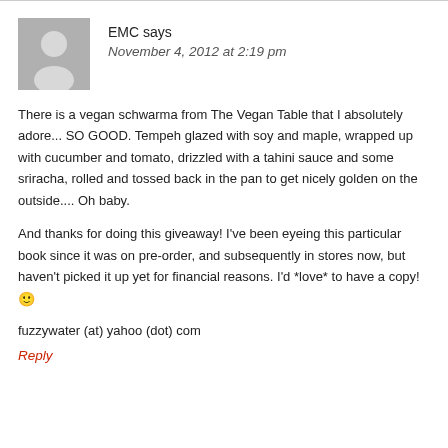[Figure (illustration): Generic user avatar placeholder icon (grey silhouette of a person on grey background)]
EMC says
November 4, 2012 at 2:19 pm
There is a vegan schwarma from The Vegan Table that I absolutely adore... SO GOOD. Tempeh glazed with soy and maple, wrapped up with cucumber and tomato, drizzled with a tahini sauce and some sriracha, rolled and tossed back in the pan to get nicely golden on the outside.... Oh baby.
And thanks for doing this giveaway! I've been eyeing this particular book since it was on pre-order, and subsequently in stores now, but haven't picked it up yet for financial reasons. I'd *love* to have a copy! 🙂
fuzzywater (at) yahoo (dot) com
Reply